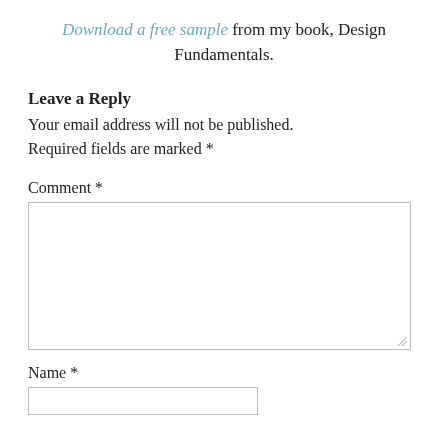Download a free sample from my book, Design Fundamentals.
Leave a Reply
Your email address will not be published. Required fields are marked *
Comment *
Name *